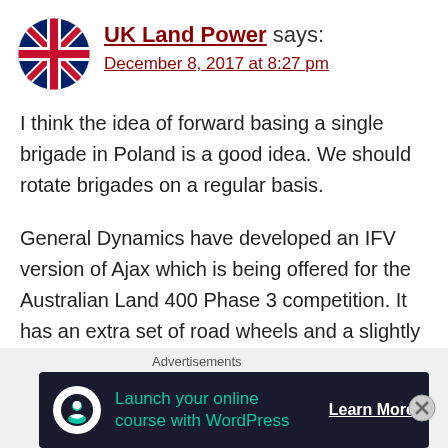UK Land Power says: December 8, 2017 at 8:27 pm
I think the idea of forward basing a single brigade in Poland is a good idea. We should rotate brigades on a regular basis.
General Dynamics have developed an IFV version of Ajax which is being offered for the Australian Land 400 Phase 3 competition. It has an extra set of road wheels and a slightly longer hull. It would complement Ajax CRV and DF versions perfectly. You could also fit a
Advertisements
[Figure (infographic): Advertisement banner: 'Launch your online course with WordPress' with Learn More CTA button on dark background]